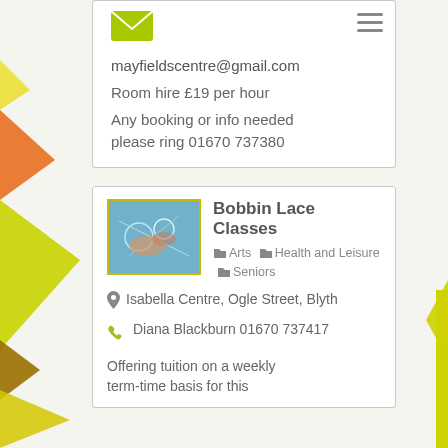[Figure (illustration): Decorative coloured triangle/polygon shapes on left side]
[Figure (illustration): Hamburger menu icon (three horizontal lines) top right]
mayfieldscentre@gmail.com
Room hire £19 per hour
Any booking or info needed please ring 01670 737380
Bobbin Lace Classes
Arts  Health and Leisure  Seniors
Isabella Centre, Ogle Street, Blyth
Diana Blackburn 01670 737417
Offering tuition on a weekly term-time basis for this